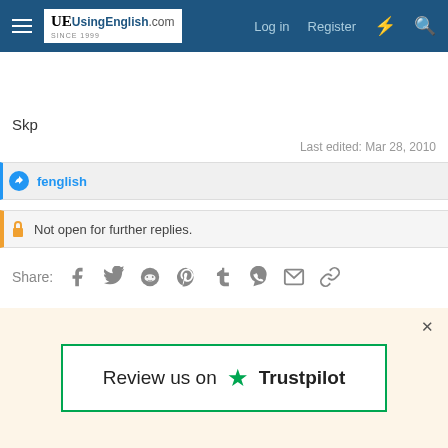UsingEnglish.com — Log in | Register
Skp
Last edited: Mar 28, 2010
fenglish
Not open for further replies.
Share: Facebook Twitter Reddit Pinterest Tumblr WhatsApp Email Link
< Ask a Teacher
[Figure (infographic): Trustpilot review banner with green star and 'Review us on Trustpilot' text on a beige background]